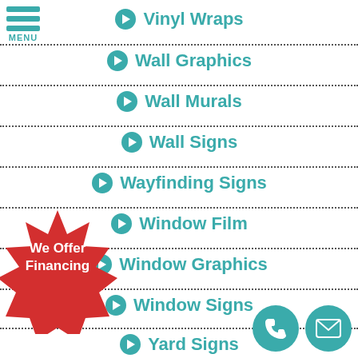[Figure (other): Hamburger menu icon with three teal horizontal bars and MENU label]
Vinyl Wraps
Wall Graphics
Wall Murals
Wall Signs
Wayfinding Signs
Window Film
Window Graphics
Window Signs
Yard Signs
[Figure (other): Red starburst badge with text 'We Offer Financing']
[Figure (other): Two teal circles with phone and email icons for contact]